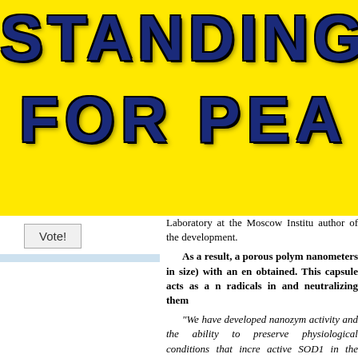[Figure (illustration): Yellow banner with dark blue bold text reading 'STANDING FOR PEA' (partially visible), styled with lightning crack effects on the letters]
Laboratory at the Moscow Institu author of the development.
As a result, a porous polym nanometers in size) with an en obtained. This capsule acts as a n radicals in and neutralizing them
"We have developed nanozym activity and the ability to preserve physiological conditions that incre active SOD1 in the blood compare The biological half-life of the substa - Maxim Abakumov added.
Successful testing of the nano rodents has proved the promise of t free radicals, reducing inflammatio